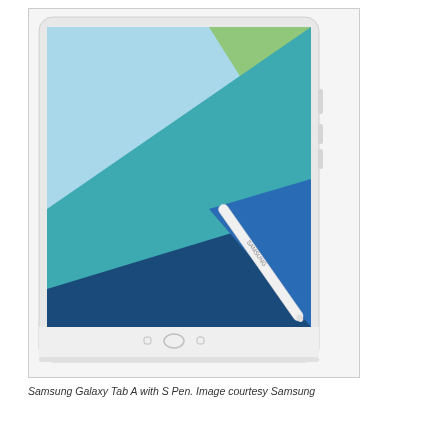[Figure (photo): Samsung Galaxy Tab A tablet with S Pen stylus. The tablet is shown at an angle displaying a colorful geometric wallpaper with blue, teal, and green triangular shapes. The white S Pen is shown resting against the bottom-right corner of the tablet. The tablet has a white chassis with three hardware buttons visible at the bottom bezel.]
Samsung Galaxy Tab A with S Pen. Image courtesy Samsung